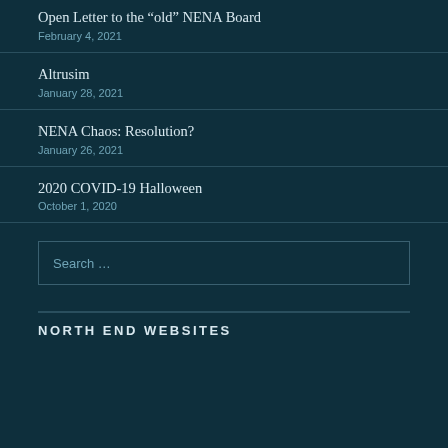Open Letter to the “old” NENA Board
February 4, 2021
Altrusim
January 28, 2021
NENA Chaos: Resolution?
January 26, 2021
2020 COVID-19 Halloween
October 1, 2020
Search …
NORTH END WEBSITES